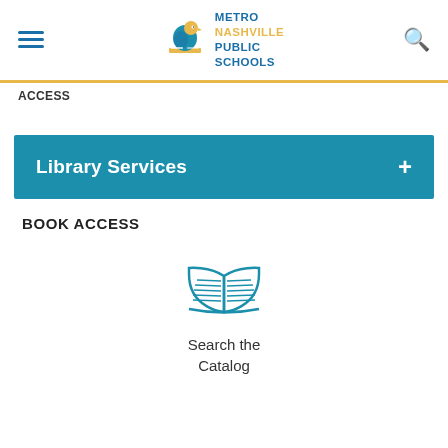Metro Nashville Public Schools
Access
Library Services
BOOK ACCESS
[Figure (illustration): Open book icon in teal/blue outline style]
Search the Catalog